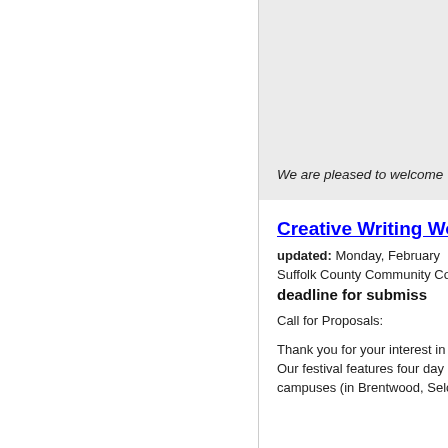[Figure (other): Gray background box at top of right column]
We are pleased to welcome
Creative Writing Wor
updated: Monday, February
Suffolk County Community Co
deadline for submiss
Call for Proposals:
Thank you for your interest in
Our festival features four day
campuses (in Brentwood, Selc